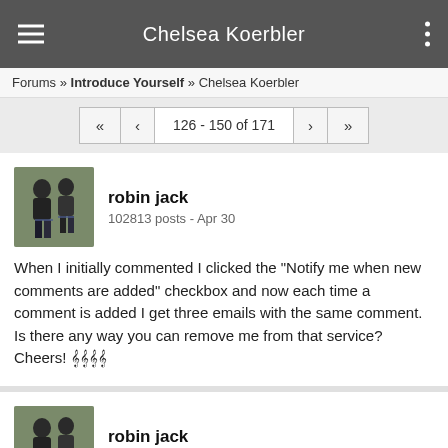Chelsea Koerbler
Forums » Introduce Yourself » Chelsea Koerbler
« < 126 - 150 of 171 > »
robin jack
102813 posts - Apr 30
When I initially commented I clicked the "Notify me when new comments are added" checkbox and now each time a comment is added I get three emails with the same comment. Is there any way you can remove me from that service? Cheers! 𝄞𝄞𝄞𝄞
robin jack
102813 posts - Apr 30
Can I just say what a relief to seek out someone who actually is aware of what theyre talking about on the internet. You undoubtedly know the way to bring an issue to light and make it important. More folks have to read this and understand this.